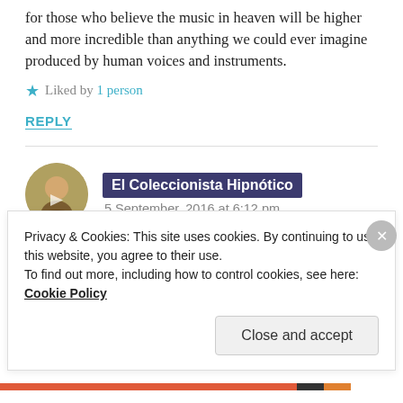for those who believe the music in heaven will be higher and more incredible than anything we could ever imagine produced by human voices and instruments.
Liked by 1 person
REPLY
El Coleccionista Hipnótico
5 September, 2016 at 6:12 pm
Privacy & Cookies: This site uses cookies. By continuing to use this website, you agree to their use.
To find out more, including how to control cookies, see here: Cookie Policy
Close and accept